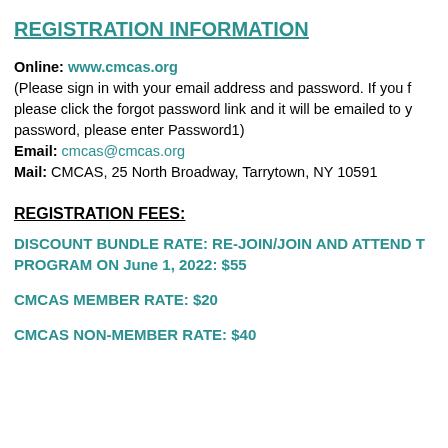REGISTRATION INFORMATION
Online: www.cmcas.org
(Please sign in with your email address and password. If you forgot your password, please click the forgot password link and it will be emailed to you. For a temporary password, please enter Password1)
Email: cmcas@cmcas.org
Mail: CMCAS, 25 North Broadway, Tarrytown, NY 10591
REGISTRATION FEES:
DISCOUNT BUNDLE RATE: RE-JOIN/JOIN AND ATTEND THE PROGRAM ON June 1, 2022: $55
CMCAS MEMBER RATE: $20
CMCAS NON-MEMBER RATE: $40